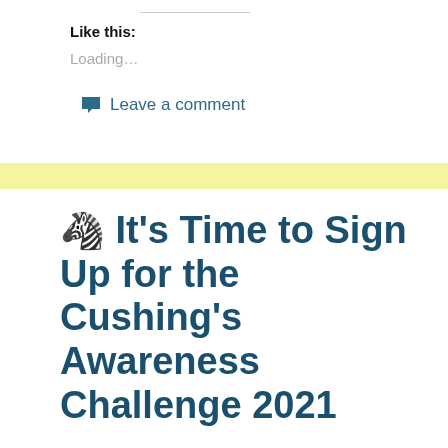Like this:
Loading...
Leave a comment
🦓 It's Time to Sign Up for the Cushing's Awareness Challenge 2021
March 21, 2021  Cushing's Awareness Challenge  April, blog, Cushie Bloggers, Cushing's Awareness, Cushing's Awareness Challenge 2021